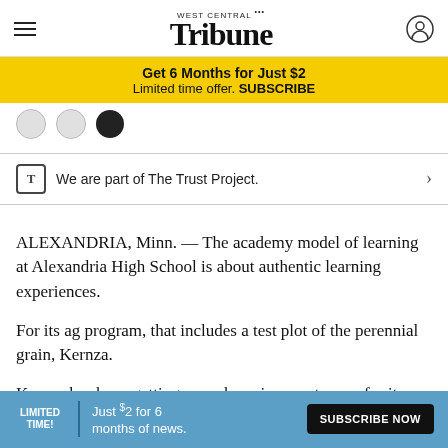West Central Tribune
[Figure (infographic): Yellow subscription banner: Get 6 Months for Just $2 / Limited time offer. SUBSCRIBE]
[Figure (other): Social sharing icons row with small circular buttons]
We are part of The Trust Project.
ALEXANDRIA, Minn. — The academy model of learning at Alexandria High School is about authentic learning experiences.
For its ag program, that includes a test plot of the perennial grain, Kernza.
Kernza has been getting some buzz in recent years for its ... can be used in the kitchen, and a plant perencial to water
[Figure (infographic): Blue subscription overlay ad: LIMITED TIME! Just $2 for 6 months of news. SUBSCRIBE NOW button]